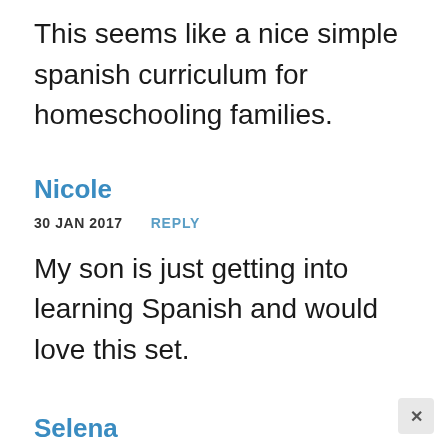This seems like a nice simple spanish curriculum for homeschooling families.
Nicole
30 JAN 2017    REPLY
My son is just getting into learning Spanish and would love this set.
Selena
30 JAN 2017    REPLY
The flexibility and PDF files for...